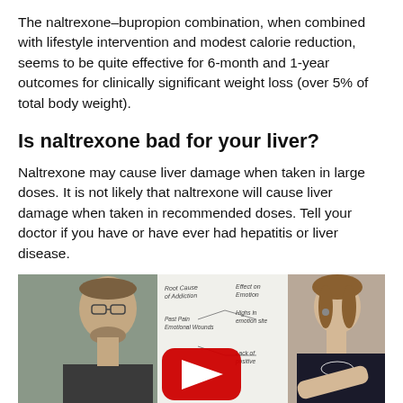The naltrexone–bupropion combination, when combined with lifestyle intervention and modest calorie reduction, seems to be quite effective for 6-month and 1-year outcomes for clinically significant weight loss (over 5% of total body weight).
Is naltrexone bad for your liver?
Naltrexone may cause liver damage when taken in large doses. It is not likely that naltrexone will cause liver damage when taken in recommended doses. Tell your doctor if you have or have ever had hepatitis or liver disease.
[Figure (photo): A YouTube video thumbnail showing two people (a man on the left wearing glasses and dark shirt, a woman on the right in a dark top) in front of a whiteboard with handwritten notes about addiction, emotions, alcohol and naltrexone. A red YouTube play button is centered on the image.]